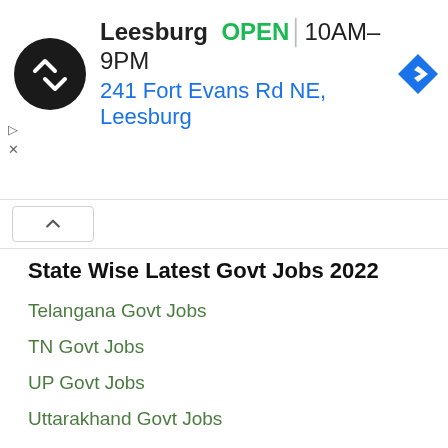[Figure (screenshot): Advertisement banner for a store in Leesburg showing logo, OPEN status, hours 10AM-9PM, address 241 Fort Evans Rd NE Leesburg, and navigation icon]
State Wise Latest Govt Jobs 2022
Telangana Govt Jobs
TN Govt Jobs
UP Govt Jobs
Uttarakhand Govt Jobs
WB Govt Jobs
Karnataka Govt Jobs
Kerala Govt Jobs
Maharashtra Govt Jobs